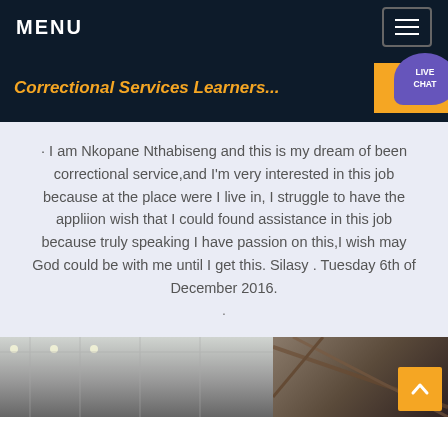MENU
Correctional Services Learners...
· I am Nkopane Nthabiseng and this is my dream of been correctional service,and I'm very interested in this job because at the place were I live in, I struggle to have the appliion wish that I could found assistance in this job because truly speaking I have passion on this,I wish may God could be with me until I get this. Silasy . Tuesday 6th of December 2016.
[Figure (photo): Interior ceiling structure of a large building on the left, and wooden scaffolding or structural timber on the right]